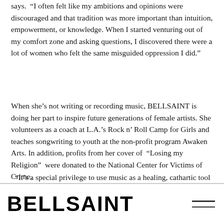says. “I often felt like my ambitions and opinions were discouraged and that tradition was more important than intuition, empowerment, or knowledge. When I started venturing out of my comfort zone and asking questions, I discovered there were a lot of women who felt the same misguided oppression I did.”
When she’s not writing or recording music, BELLSAINT is doing her part to inspire future generations of female artists. She volunteers as a coach at L.A.’s Rock n’ Roll Camp for Girls and teaches songwriting to youth at the non-profit program Awaken Arts. In addition, profits from her cover of “Losing my Religion” were donated to the National Center for Victims of Crime.
“It’s a special privilege to use music as a healing, cathartic tool that connects us all,” says BELLSAINT. “I want my life to mean something, and I want to give back
BELLSAINT